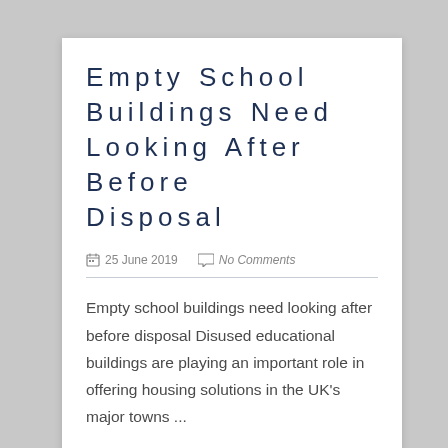Empty School Buildings Need Looking After Before Disposal
25 June 2019   No Comments
Empty school buildings need looking after before disposal Disused educational buildings are playing an important role in offering housing solutions in the UK's major towns ...
READ MORE